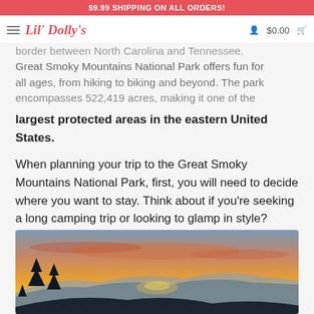$9.99 SHIPPING ON ALL ORDERS!
Lil' Dolly's  $0.00
border between North Carolina and Tennessee. Great Smoky Mountains National Park offers fun for all ages, from hiking to biking and beyond. The park encompasses 522,419 acres, making it one of the largest protected areas in the eastern United States.
When planning your trip to the Great Smoky Mountains National Park, first, you will need to decide where you want to stay. Think about if you're seeking a long camping trip or looking to glamp in style? There are numerous different types of campsites and hotel options available, both in and outside of the park.
[Figure (photo): Sunset over Great Smoky Mountains with silhouetted pine trees in foreground, orange and golden sky with mountain ridges in background]